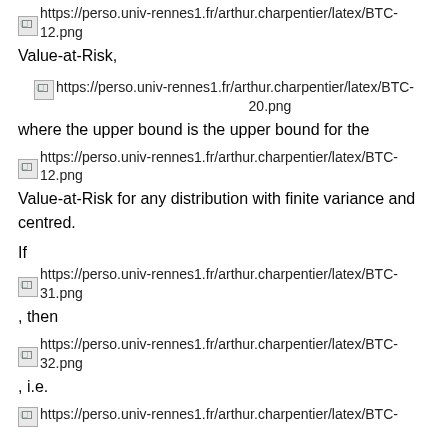[Figure (other): Broken image placeholder linking to https://perso.univ-rennes1.fr/arthur.charpentier/latex/BTC-12.png]
Value-at-Risk,
[Figure (other): Broken image placeholder linking to https://perso.univ-rennes1.fr/arthur.charpentier/latex/BTC-20.png]
where the upper bound is the upper bound for the
[Figure (other): Broken image placeholder linking to https://perso.univ-rennes1.fr/arthur.charpentier/latex/BTC-12.png]
Value-at-Risk for any distribution with finite variance and centred.
If
[Figure (other): Broken image placeholder linking to https://perso.univ-rennes1.fr/arthur.charpentier/latex/BTC-31.png]
, then
[Figure (other): Broken image placeholder linking to https://perso.univ-rennes1.fr/arthur.charpentier/latex/BTC-32.png]
, i.e.
[Figure (other): Broken image placeholder linking to https://perso.univ-rennes1.fr/arthur.charpentier/latex/BTC-... (partially visible)]